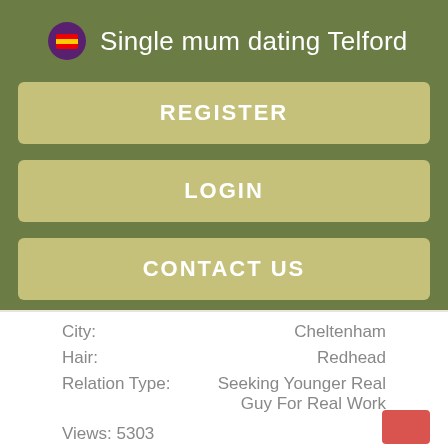Single mum dating Telford
REGISTER
LOGIN
CONTACT US
City: Cheltenham
Hair: Redhead
Relation Type: Seeking Younger Real Guy For Real Work
Views: 5303